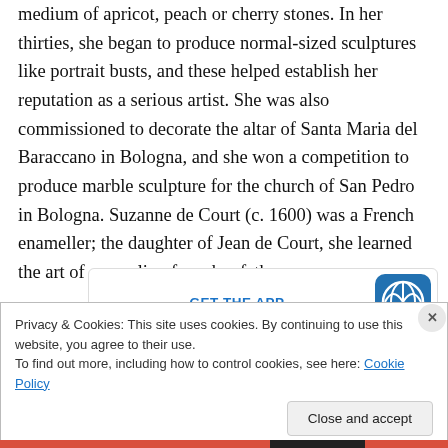medium of apricot, peach or cherry stones. In her thirties, she began to produce normal-sized sculptures like portrait busts, and these helped establish her reputation as a serious artist. She was also commissioned to decorate the altar of Santa Maria del Baraccano in Bologna, and she won a competition to produce marble sculpture for the church of San Pedro in Bologna. Suzanne de Court (c. 1600) was a French enameller; the daughter of Jean de Court, she learned the art of enameling from her father.
[Figure (other): App banner with WordPress logo icon and 'GET THE APP' text in blue]
Privacy & Cookies: This site uses cookies. By continuing to use this website, you agree to their use.
To find out more, including how to control cookies, see here: Cookie Policy
Close and accept